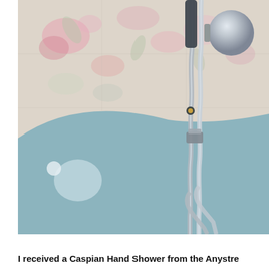[Figure (photo): Close-up photograph of a handheld shower head with a chrome metallic hose mounted on a wall with floral patterned tiles at the top and a blue tiled wall below. The showerhead is dark colored with a chrome ball-shaped head. The hose runs vertically down.]
I received a Caspian Hand Shower from the Anystre